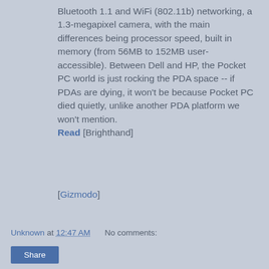Bluetooth 1.1 and WiFi (802.11b) networking, a 1.3-megapixel camera, with the main differences being processor speed, built in memory (from 56MB to 152MB user-accessible). Between Dell and HP, the Pocket PC world is just rocking the PDA space -- if PDAs are dying, it won't be because Pocket PC died quietly, unlike another PDA platform we won't mention. Read [Brighthand]
[Gizmodo]
Unknown at 12:47 AM   No comments:
Share